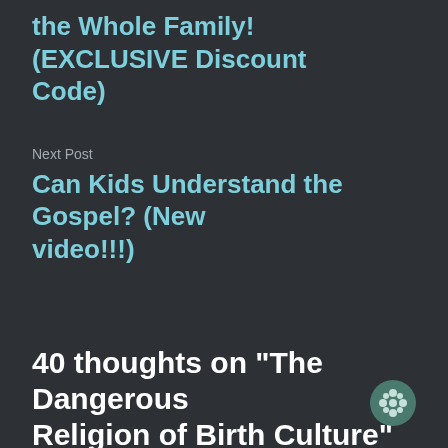the Whole Family! (EXCLUSIVE Discount Code)
Next Post
Can Kids Understand the Gospel? (New video!!!)
40 thoughts on “The Dangerous Religion of Birth Culture”
Emily Supica
September 27, 2016 at 3:05